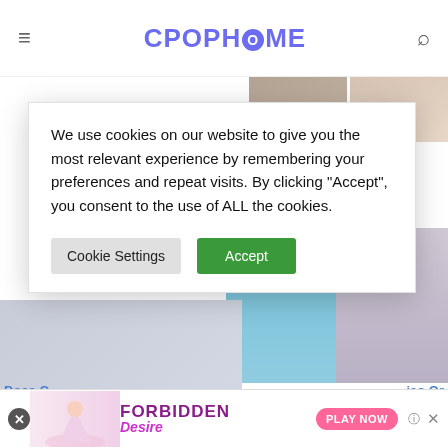CPOPHOME
[Figure (photo): Two photos in top right corner showing people]
v Is Xu Kai And Cheng 's Relationship
We use cookies on our website to give you the most relevant experience by remembering your preferences and repeat visits. By clicking "Accept", you consent to the use of ALL the cookies.
[Figure (photo): Photo of person with blue-teal hair in striped top]
[Figure (photo): Photo of person with dark hair against blue background]
[Figure (photo): Photo of person with long dark hair in light outfit]
Does C Boyfrie
iao Or
[Figure (photo): Forbidden Desire advertisement banner with Play Now button]